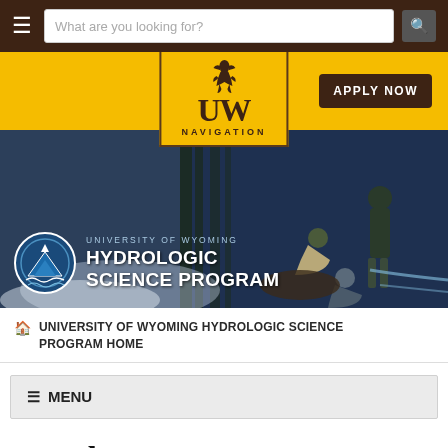What are you looking for? [search bar]
[Figure (logo): University of Wyoming UW logo with cowboy on bucking horse, gold bar with NAVIGATION label and APPLY NOW button]
[Figure (photo): Hero banner photo showing people outdoors near a stream with trees, overlaid with University of Wyoming Hydrologic Science Program logo (circular blue mountain/water emblem) and program name text]
UNIVERSITY OF WYOMING HYDROLOGIC SCIENCE PROGRAM HOME
≡ MENU
Faculty